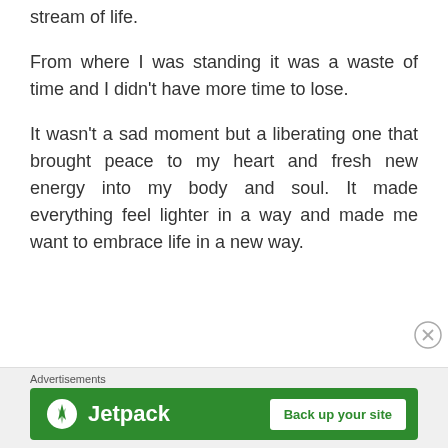stream of life.
From where I was standing it was a waste of time and I didn't have more time to lose.
It wasn't a sad moment but a liberating one that brought peace to my heart and fresh new energy into my body and soul. It made everything feel lighter in a way and made me want to embrace life in a new way.
Advertisements
[Figure (other): Jetpack advertisement banner with logo and 'Back up your site' button]